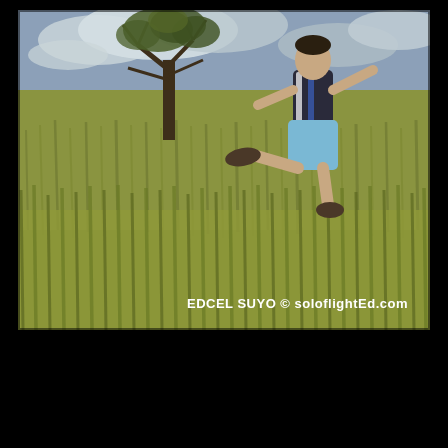[Figure (photo): A person jumping energetically in a field of tall golden-green grass outdoors. The person wears a dark sleeveless top, light blue shorts, and sandals, with one leg kicked back. A lone tree and cloudy sky are visible in the background. A watermark reads 'EDCEL SUYO © soloflightEd.com' in the lower right corner of the photo.]